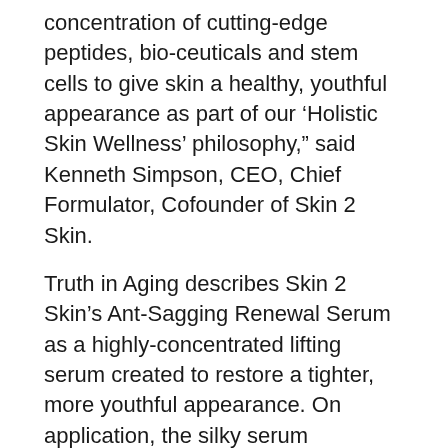concentration of cutting-edge peptides, bio-ceuticals and stem cells to give skin a healthy, youthful appearance as part of our ‘Holistic Skin Wellness’ philosophy,” said Kenneth Simpson, CEO, Chief Formulator, Cofounder of Skin 2 Skin.
Truth in Aging describes Skin 2 Skin’s Ant-Sagging Renewal Serum as a highly-concentrated lifting serum created to restore a tighter, more youthful appearance. On application, the silky serum immediately improves the texture and feel of the skin while complex peptides and stem cells work over time to diminish the appearance of sagging, wrinkles and scars.
The Anti-Sagging Renewal Serum sells for $74.The full plant-powered skin care line contains the highest concentration of anti-aging elements on the market today, featuring a White Tea Face Wash, AB-HA Exfoliating Cleanser, Enzyme Clay Mask, Revitalizing Eye Gel, Aging Intervention Cream, the complete all-in-one